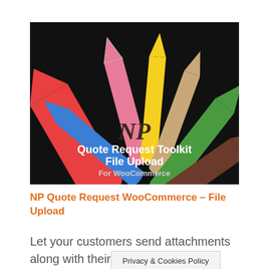[Figure (illustration): Hero banner image on black background: colorful pencils (red, blue, pink, yellow, tan, green, brown) fanned out with 'NP' monogram in center, text below reads 'Quote Request Toolkit File Upload For WooCommerce']
NP Quote Request WooCommerce – File Upload
Let your customers send attachments along with their quote request! NP Quote [Privacy & Cookies Policy] mmerce - File
Privacy & Cookies Policy